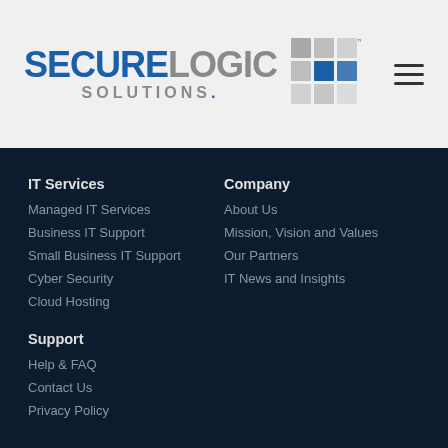[Figure (logo): SecureLogic Solutions logo with cube graphic and hamburger menu icon]
IT Services
Managed IT Services
Business IT Support
Small Business IT Support
Cyber Security
Cloud Hosting
Company
About Us
Mission, Vision and Values
Our Partners
IT News and Insights
Support
Help & FAQ
Contact Us
Privacy Policy